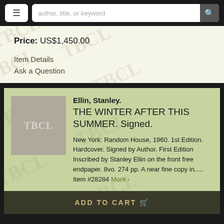author, title, or keyword
Price: US$1,450.00
Item Details
Ask a Question
Ellin, Stanley. THE WINTER AFTER THIS SUMMER. Signed. New York: Random House, 1960. 1st Edition. Hardcover. Signed by Author. First Edition Inscribed by Stanley Ellin on the front free endpaper. 8vo. 274 pp. A near fine copy in..... Item #28284 More ›
ADD TO CART